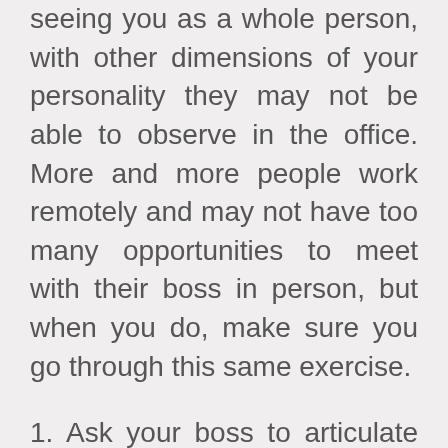seeing you as a whole person, with other dimensions of your personality they may not be able to observe in the office. More and more people work remotely and may not have too many opportunities to meet with their boss in person, but when you do, make sure you go through this same exercise.
Ask your boss to articulate how you can help them with your professional contributions to make them look good. This may seem awkward, but ask anyway, as most people do not know the answer, and may, in fact, be